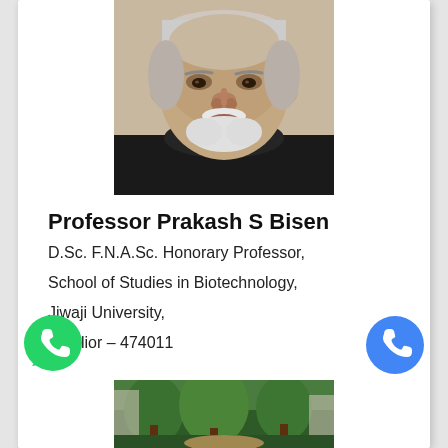[Figure (photo): Headshot photo of Professor Prakash S Bisen, an elderly man with white beard and mustache, wearing a dark shirt]
Professor Prakash S Bisen
D.Sc. F.N.A.Sc. Honorary Professor,
School of Studies in Biotechnology,
Jiwaji University,
Gwalior – 474011
[Figure (photo): Green park/garden photo at the bottom of the page]
[Figure (illustration): WhatsApp green phone icon button on lower left]
[Figure (illustration): Blue phone call icon button on lower right]